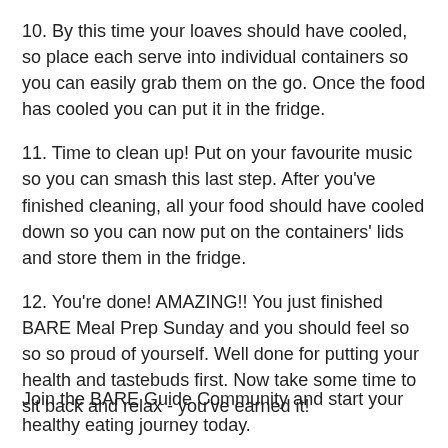10. By this time your loaves should have cooled, so place each serve into individual containers so you can easily grab them on the go. Once the food has cooled you can put it in the fridge.
11. Time to clean up! Put on your favourite music so you can smash this last step. After you've finished cleaning, all your food should have cooled down so you can now put on the containers' lids and store them in the fridge.
12. You're done! AMAZING!! You just finished BARE Meal Prep Sunday and you should feel so so so proud of yourself. Well done for putting your health and tastebuds first. Now take some time to sit back and relax - you've earned it!
Join the BARE Guide Community and start your healthy eating journey today.